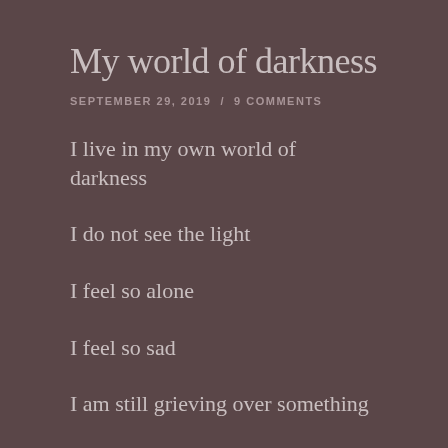My world of darkness
SEPTEMBER 29, 2019  /  9 COMMENTS
I live in my own world of darkness
I do not see the light
I feel so alone
I feel so sad
I am still grieving over something
I never had
The sadness turns to pain